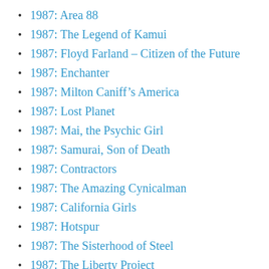1987: Area 88
1987: The Legend of Kamui
1987: Floyd Farland – Citizen of the Future
1987: Enchanter
1987: Milton Caniff's America
1987: Lost Planet
1987: Mai, the Psychic Girl
1987: Samurai, Son of Death
1987: Contractors
1987: The Amazing Cynicalman
1987: California Girls
1987: Hotspur
1987: The Sisterhood of Steel
1987: The Liberty Project
1987: Captain EO 3-D
1987: The Prowler &c